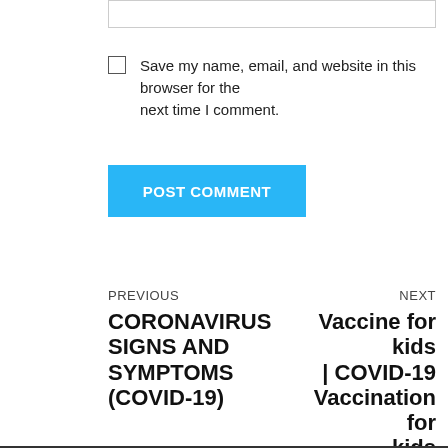[Figure (screenshot): Text input box / form field at the top of the page]
Save my name, email, and website in this browser for the next time I comment.
POST COMMENT
PREVIOUS
CORONAVIRUS SIGNS AND SYMPTOMS (COVID-19)
NEXT
Vaccine for kids | COVID-19 Vaccination for kids